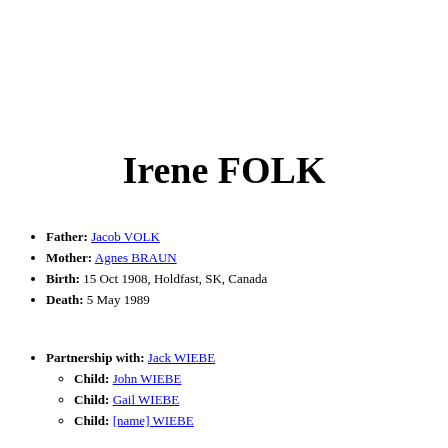Irene FOLK
Father: Jacob VOLK
Mother: Agnes BRAUN
Birth: 15 Oct 1908, Holdfast, SK, Canada
Death: 5 May 1989
Partnership with: Jack WIEBE
Child: John WIEBE
Child: Gail WIEBE
Child: [name cut off] WIEBE